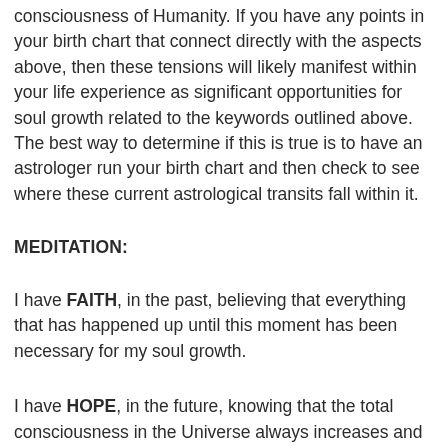consciousness of Humanity. If you have any points in your birth chart that connect directly with the aspects above, then these tensions will likely manifest within your life experience as significant opportunities for soul growth related to the keywords outlined above. The best way to determine if this is true is to have an astrologer run your birth chart and then check to see where these current astrological transits fall within it.
MEDITATION:
I have FAITH, in the past, believing that everything that has happened up until this moment has been necessary for my soul growth.
I have HOPE, in the future, knowing that the total consciousness in the Universe always increases and